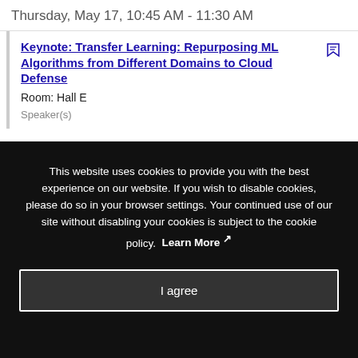Thursday, May 17, 10:45 AM - 11:30 AM
Keynote: Transfer Learning: Repurposing ML Algorithms from Different Domains to Cloud Defense
Room: Hall E
Speaker(s)
This website uses cookies to provide you with the best experience on our website. If you wish to disable cookies, please do so in your browser settings. Your continued use of our site without disabling your cookies is subject to the cookie policy. Learn More
I agree